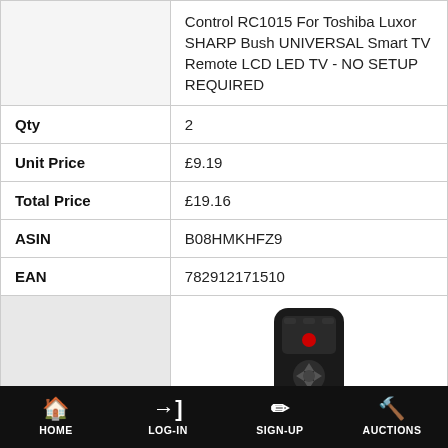|  | Control RC1015 For Toshiba Luxor SHARP Bush UNIVERSAL Smart TV Remote LCD LED TV - NO SETUP REQUIRED |
| Qty | 2 |
| Unit Price | £9.19 |
| Total Price | £19.16 |
| ASIN | B08HMKHFZ9 |
| EAN | 782912171510 |
[Figure (photo): A black universal TV remote control shown vertically centered against a white background, within a product listing layout.]
HOME   LOG-IN   SIGN-UP   AUCTIONS